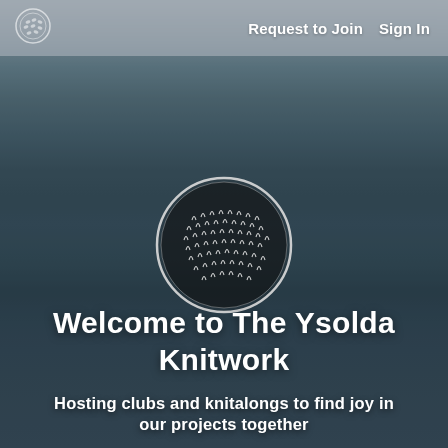Request to Join  Sign In
[Figure (logo): Circular knitting pattern logo — a globe-like sphere made of knit stitch illustrations in dark grey/black on white, with a thin circular border]
Welcome to The Ysolda Knitwork
Hosting clubs and knitalongs to find joy in our projects together